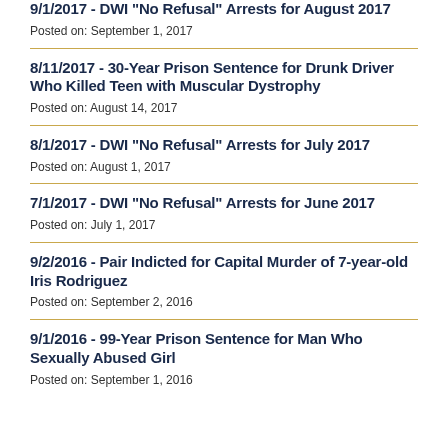9/1/2017 - DWI "No Refusal" Arrests for August 2017
Posted on: September 1, 2017
8/11/2017 - 30-Year Prison Sentence for Drunk Driver Who Killed Teen with Muscular Dystrophy
Posted on: August 14, 2017
8/1/2017 - DWI "No Refusal" Arrests for July 2017
Posted on: August 1, 2017
7/1/2017 - DWI "No Refusal" Arrests for June 2017
Posted on: July 1, 2017
9/2/2016 - Pair Indicted for Capital Murder of 7-year-old Iris Rodriguez
Posted on: September 2, 2016
9/1/2016 - 99-Year Prison Sentence for Man Who Sexually Abused Girl
Posted on: September 1, 2016